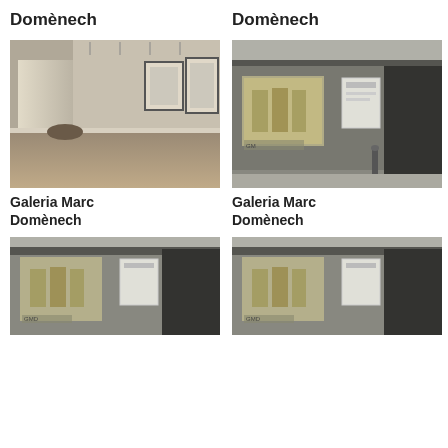Domènech
Domènech
[Figure (photo): Interior of an art gallery with framed artworks on white walls and wooden floor]
[Figure (photo): Exterior facade of Galeria Marc Domènech with display windows at night]
Galeria Marc Domènech
Galeria Marc Domènech
[Figure (photo): Exterior facade of Galeria Marc Domènech at night, partial view]
[Figure (photo): Exterior facade of Galeria Marc Domènech at night, partial view]